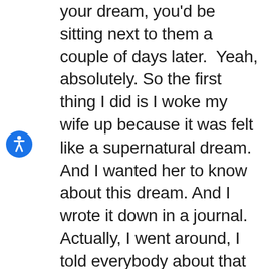your dream, you'd be sitting next to them a couple of days later.  Yeah, absolutely. So the first thing I did is I woke my wife up because it was felt like a supernatural dream. And I wanted her to know about this dream. And I wrote it down in a journal. Actually, I went around, I told everybody about that dream. Three days later, I'm at a conference in our community. And one of the people that was in the dream was was our county's social